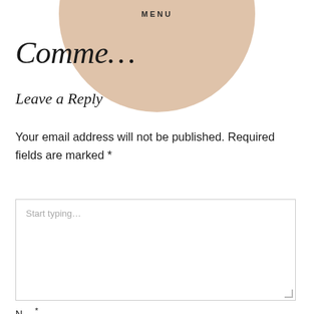MENU
Comme…
Leave a Reply
Your email address will not be published. Required fields are marked *
Start typing…
N… *